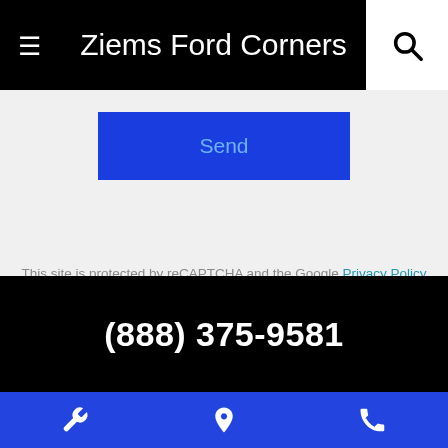Ziems Ford Corners
Send
This site is protected by reCAPTCHA and the Google Privacy Policy and Terms of Service apply.
(888) 375-9581